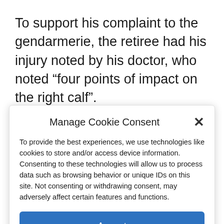To support his complaint to the gendarmerie, the retiree had his injury noted by his doctor, who noted “four points of impact on the right calf”.
Since then, no news from justice. Except that in the neighboring district of avenue Jean-
Manage Cookie Consent
To provide the best experiences, we use technologies like cookies to store and/or access device information. Consenting to these technologies will allow us to process data such as browsing behavior or unique IDs on this site. Not consenting or withdrawing consent, may adversely affect certain features and functions.
Accept
Cookie Policy